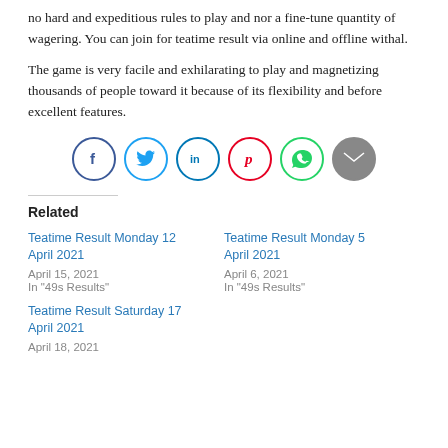no hard and expeditious rules to play and nor a fine-tune quantity of wagering. You can join for teatime result via online and offline withal.
The game is very facile and exhilarating to play and magnetizing thousands of people toward it because of its flexibility and before excellent features.
[Figure (infographic): Row of six social media share buttons: Facebook (dark blue circle, f), Twitter (light blue circle, bird), LinkedIn (blue circle, in), Pinterest (red circle, P), WhatsApp (green circle, phone), Email (grey filled circle, envelope)]
Related
Teatime Result Monday 12 April 2021
April 15, 2021
In '49s Results'
Teatime Result Monday 5 April 2021
April 6, 2021
In '49s Results'
Teatime Result Saturday 17 April 2021
April 18, 2021